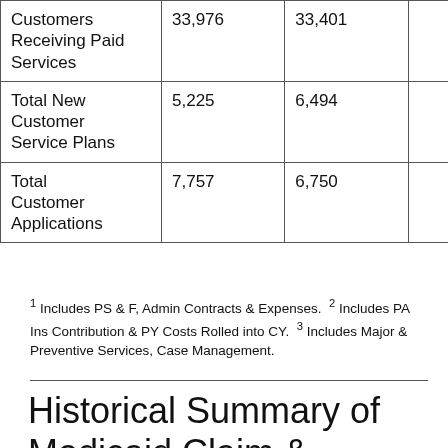|  |  |  |  |
| --- | --- | --- | --- |
| Customers Receiving Paid Services | 33,976 | 33,401 |  |
| Total New Customer Service Plans | 5,225 | 6,494 |  |
| Total Customer Applications | 7,757 | 6,750 |  |
1 Includes PS & F, Admin Contracts & Expenses. 2 Includes PA Ins Contribution & PY Costs Rolled into CY. 3 Includes Major & Preventive Services, Case Management.
Historical Summary of Medicaid Claim &